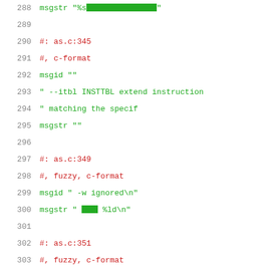288  msgstr "%s\u0000\u0000\u0000\u0000\u0000\u0000\u0000\u0000\u0000\u0000\u0000\u0000\u0000"
289
290  #: as.c:345
291  #, c-format
292  msgid ""
293  "  --itbl INSTTBL          extend instruction
294  "                           matching the specif
295  msgstr ""
296
297  #: as.c:349
298  #, fuzzy, c-format
299  msgid "  -w                    ignored\n"
300  msgstr "  [box][box][box]             %ld\n"
301
302  #: as.c:351
303  #, fuzzy, c-format
304  msgid "  -X                    ignored\n"
305  msgstr "  [box][box][box]             %ld\n"
306
307  #: as.c:353
308  #, fuzzy, c-format
309  msgid "  -Z                    generate_obje